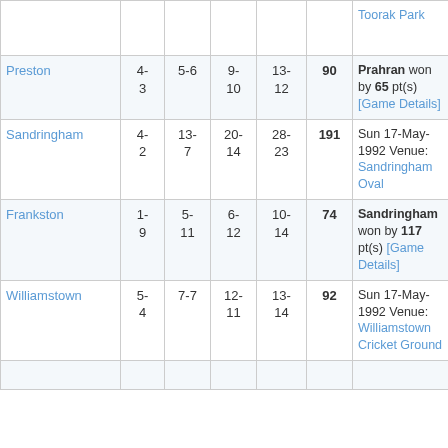|  |  |  |  |  |  | Toorak Park |
| Preston | 4-3 | 5-6 | 9-10 | 13-12 | 90 | Prahran won by 65 pt(s) [Game Details] |
| Sandringham | 4-2 | 13-7 | 20-14 | 28-23 | 191 | Sun 17-May-1992 Venue: Sandringham Oval |
| Frankston | 1-9 | 5-11 | 6-12 | 10-14 | 74 | Sandringham won by 117 pt(s) [Game Details] |
| Williamstown | 5-4 | 7-7 | 12-11 | 13-14 | 92 | Sun 17-May-1992 Venue: Williamstown Cricket Ground |